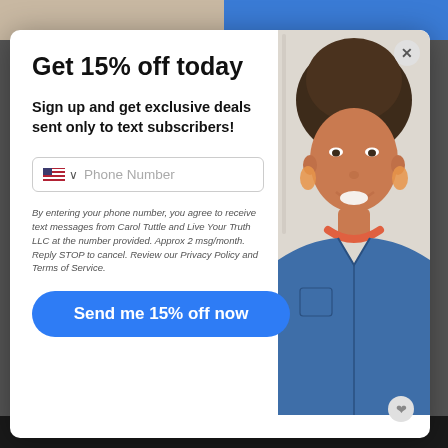Get 15% off today
Sign up and get exclusive deals sent only to text subscribers!
[Figure (screenshot): Phone number input field with US flag icon and dropdown chevron, placeholder text 'Phone Number']
By entering your phone number, you agree to receive text messages from Carol Tuttle and Live Your Truth LLC at the number provided. Approx 2 msg/month. Reply STOP to cancel. Review our Privacy Policy and Terms of Service.
[Figure (photo): Portrait photo of a middle-aged woman with short brown hair, wearing a blue denim shirt and coral necklace, smiling]
Send me 15% off now